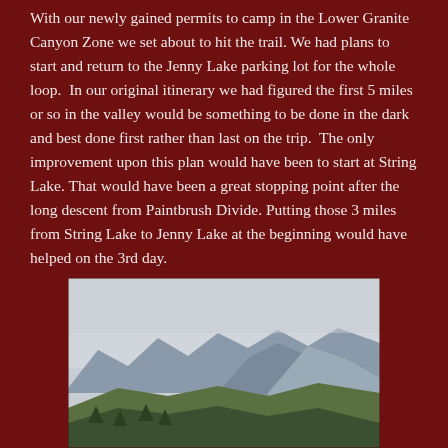With our newly gained permits to camp in the Lower Granite Canyon Zone we set about to hit the trail. We had plans to start and return to the Jenny Lake parking lot for the whole loop.  In our original itinerary we had figured the first 5 miles or so in the valley would be something to be done in the dark and best done first rather than last on the trip.  The only improvement upon this plan would have been to start at String Lake. That would have been a great stopping point after the long descent from Paintbrush Divide. Putting those 3 miles from String Lake to Jenny Lake at the beginning would have helped on the 3rd day.
[Figure (photo): A landscape photograph showing mountains in the background under an overcast grey sky, with a foreground of green trees and a valley. The mountains appear to be in the Teton range area.]